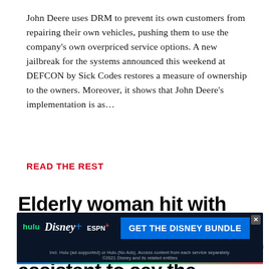John Deere uses DRM to prevent its own customers from repairing their own vehicles, pushing them to use the company's own overpriced service options. A new jailbreak for the systems announced this weekend at DEFCON by Sick Codes restores a measure of ownership to the owners. Moreover, it shows that John Deere's implementation is as...
READ THE REST
Elderly woman hit with recurring subscription after asking voice assistant to say the Hail Mary
[Figure (screenshot): Disney Bundle advertisement banner with Hulu, Disney+, and ESPN+ logos and a blue 'GET THE DISNEY BUNDLE' call-to-action button on a dark background.]